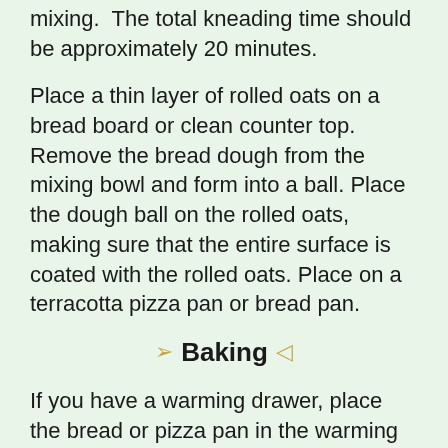mixing.  The total kneading time should be approximately 20 minutes.
Place a thin layer of rolled oats on a bread board or clean counter top. Remove the bread dough from the mixing bowl and form into a ball. Place the dough ball on the rolled oats, making sure that the entire surface is coated with the rolled oats. Place on a terracotta pizza pan or bread pan.
Baking
If you have a warming drawer, place the bread or pizza pan in the warming drawer set on low to rise. If you don't have a warming